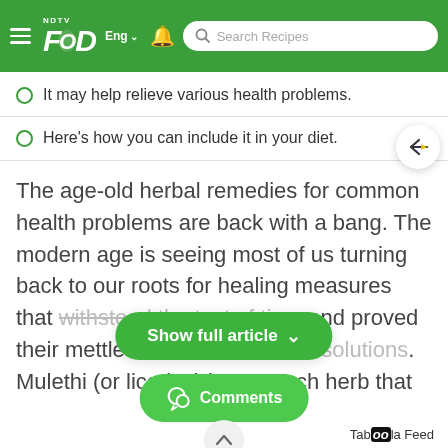NDTV Food | Eng | Search Recipes
It may help relieve various health problems.
Here's how you can include it in your diet.
The age-old herbal remedies for common health problems are back with a bang. The modern age is seeing most of us turning back to our roots for healing measures that withstood the test of time and proved their mettle as [faded]. Mulethi (or licorice) is one such herb that our grandparents swore
Show full article
Comments
Taboola Feed